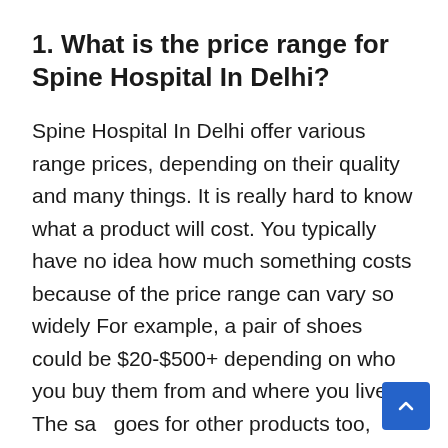1. What is the price range for Spine Hospital In Delhi?
Spine Hospital In Delhi offer various range prices, depending on their quality and many things. It is really hard to know what a product will cost. You typically have no idea how much something costs because of the price range can vary so widely For example, a pair of shoes could be $20-$500+ depending on who you buy them from and where you live. The same goes for other products too, such as Spine